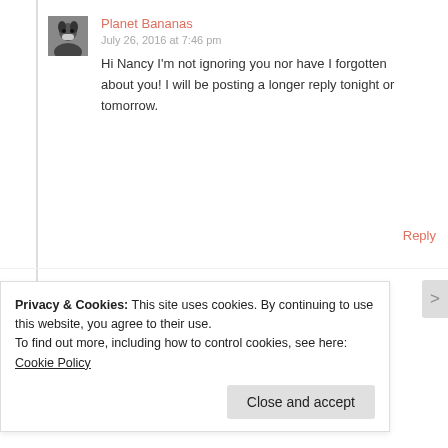Planet Bananas
July 26, 2016 at 7:46 pm
Hi Nancy I'm not ignoring you nor have I forgotten about you! I will be posting a longer reply tonight or tomorrow.
Reply
Planet Bananas
July 28, 2016 at 12:12 am
Privacy & Cookies: This site uses cookies. By continuing to use this website, you agree to their use.
To find out more, including how to control cookies, see here: Cookie Policy
Close and accept